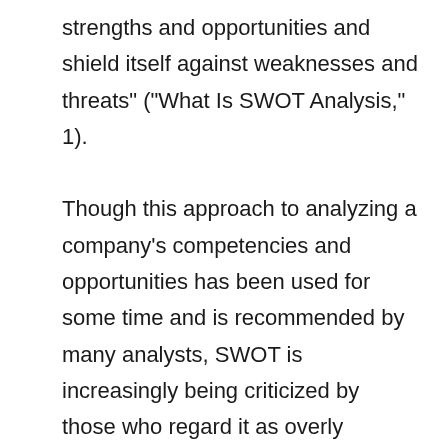strengths and opportunities and shield itself against weaknesses and threats" ("What Is SWOT Analysis," 1). Though this approach to analyzing a company's competencies and opportunities has been used for some time and is recommended by many analysts, SWOT is increasingly being criticized by those who regard it as overly simplistic. It is this criticism that will be explored and supported herein.